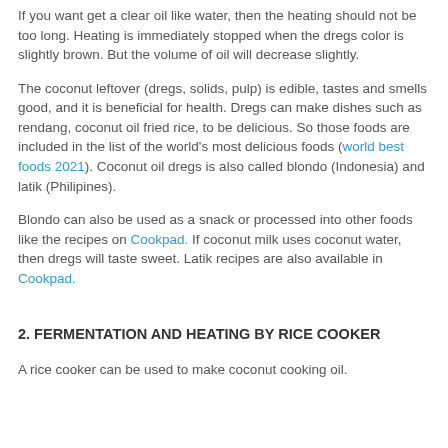If you want get a clear oil like water, then the heating should not be too long. Heating is immediately stopped when the dregs color is slightly brown. But the volume of oil will decrease slightly.
The coconut leftover (dregs, solids, pulp) is edible, tastes and smells good, and it is beneficial for health. Dregs can make dishes such as rendang, coconut oil fried rice, to be delicious. So those foods are included in the list of the world's most delicious foods (world best foods 2021). Coconut oil dregs is also called blondo (Indonesia) and latik (Philipines).
Blondo can also be used as a snack or processed into other foods like the recipes on Cookpad. If coconut milk uses coconut water, then dregs will taste sweet. Latik recipes are also available in Cookpad.
2. FERMENTATION AND HEATING BY RICE COOKER
A rice cooker can be used to make coconut cooking oil.